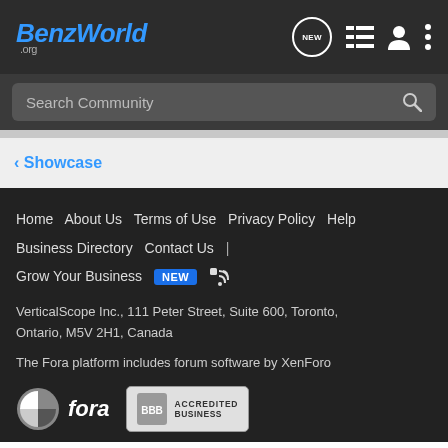BenzWorld.org — Navigation header with NEW, list, user, and menu icons
Search Community
< Showcase
Home  About Us  Terms of Use  Privacy Policy  Help  Business Directory  Contact Us  |  Grow Your Business  NEW  [RSS]  VerticalScope Inc., 111 Peter Street, Suite 600, Toronto, Ontario, M5V 2H1, Canada  The Fora platform includes forum software by XenForo  [Fora logo] [BBB Accredited Business]